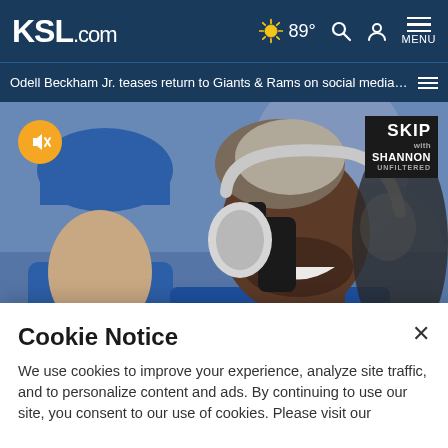KSL.com — 89° — Search — Account — MENU
Odell Beckham Jr. teases return to Giants & Rams on social media ...
[Figure (photo): Odell Beckham Jr. in a blue LA Rams jersey smiling while adjusting white over-ear headphones, with another player in blue visible to the left. SKIP with Shannon UNFILTERED logo visible in top right corner.]
"He has some unresolved business with the franchise that drafted him..."
Cookie Notice
We use cookies to improve your experience, analyze site traffic, and to personalize content and ads. By continuing to use our site, you consent to our use of cookies. Please visit our